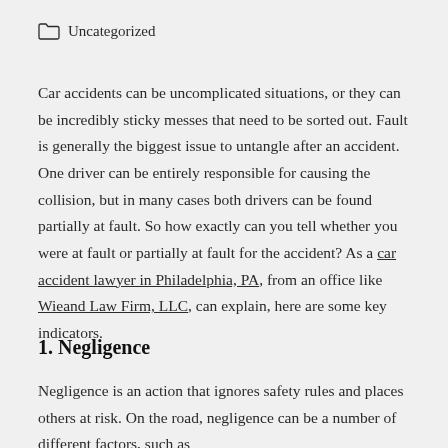Uncategorized
Car accidents can be uncomplicated situations, or they can be incredibly sticky messes that need to be sorted out. Fault is generally the biggest issue to untangle after an accident. One driver can be entirely responsible for causing the collision, but in many cases both drivers can be found partially at fault. So how exactly can you tell whether you were at fault or partially at fault for the accident? As a car accident lawyer in Philadelphia, PA, from an office like Wieand Law Firm, LLC, can explain, here are some key indicators.
1. Negligence
Negligence is an action that ignores safety rules and places others at risk. On the road, negligence can be a number of different factors, such as